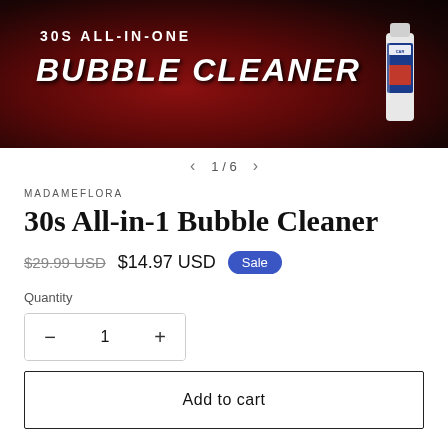[Figure (photo): Product promotional banner image showing a dark red background with a black car, text '30s ALL-IN-ONE BUBBLE CLEANER' in white bold italic lettering, and a white bottle of car cleaner product on the right side]
1 / 6
MADAMEFLORA
30s All-in-1 Bubble Cleaner
$29.99 USD  $14.97 USD  Sale
Quantity
1
Add to cart